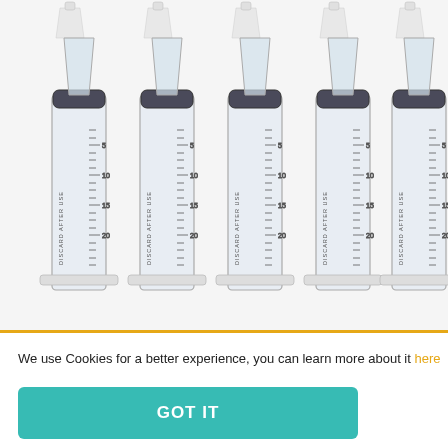[Figure (photo): Five medical syringes (20ml, labeled 'DISCARD AFTER USE') arranged side by side with caps shown above them on a light grey background]
We use Cookies for a better experience, you can learn more about it here
GOT IT